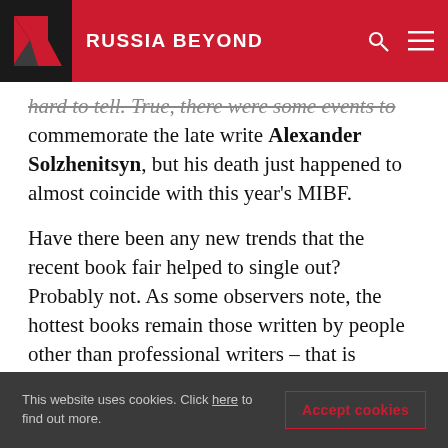RUSSIA BEYOND
hard to tell. True, there were some events to commemorate the late write Alexander Solzhenitsyn, but his death just happened to almost coincide with this year's MIBF.
Have there been any new trends that the recent book fair helped to single out? Probably not. As some observers note, the hottest books remain those written by people other than professional writers – that is politicians, pop stars and so on. But that trend began a few years ago, and publishers are continuing to capitalize on it just for
This website uses cookies. Click here to find out more.
Accept cookies